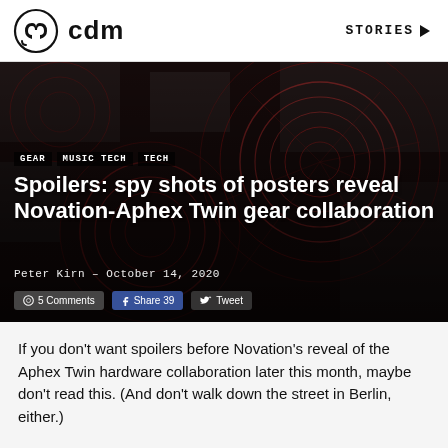cdm  STORIES
[Figure (photo): Hero image of abstract electronic/circuit-board art with red spiral patterns overlaid on dark mechanical imagery. Tags: GEAR, MUSIC TECH, TECH. Title: Spoilers: spy shots of posters reveal Novation-Aphex Twin gear collaboration. Byline: Peter Kirn - October 14, 2020. Social buttons: 5 Comments, Share 39, Tweet.]
Spoilers: spy shots of posters reveal Novation-Aphex Twin gear collaboration
Peter Kirn - October 14, 2020
If you don't want spoilers before Novation's reveal of the Aphex Twin hardware collaboration later this month, maybe don't read this. (And don't walk down the street in Berlin, either.)